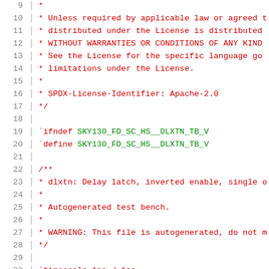Source code listing lines 9-30, Verilog header file SKY130_FD_SC_HS__DLXTN_TB_V with Apache 2.0 license comment block and module guard
9: *
10: * Unless required by applicable law or agreed t
11: * distributed under the License is distributed
12: * WITHOUT WARRANTIES OR CONDITIONS OF ANY KIND
13: * See the License for the specific language go
14: * limitations under the License.
15: *
16: * SPDX-License-Identifier: Apache-2.0
17: */
18:
19: `ifndef SKY130_FD_SC_HS__DLXTN_TB_V
20: `define SKY130_FD_SC_HS__DLXTN_TB_V
21:
22: /**
23: * dlxtn: Delay latch, inverted enable, single o
24: *
25: * Autogenerated test bench.
26: *
27: * WARNING: This file is autogenerated, do not m
28: */
29:
30: `timescale 1ns / 1ps